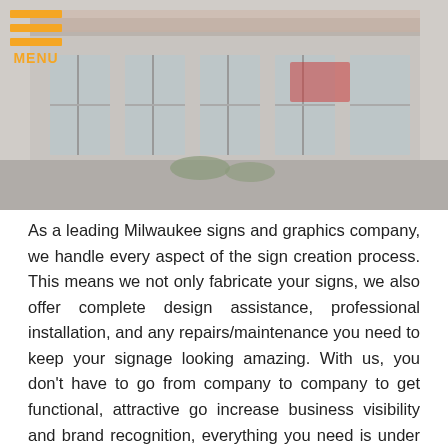[Figure (photo): Storefront of a signs and graphics company with large display windows and signage visible]
As a leading Milwaukee signs and graphics company, we handle every aspect of the sign creation process. This means we not only fabricate your signs, we also offer complete design assistance, professional installation, and any repairs/maintenance you need to keep your signage looking amazing. With us, you don't have to go from company to company to get functional, attractive go increase business visibility and brand recognition, everything you need is under one roof!
The quality of your signage is viewed as a direct reflection of the quality of your products or services, which makes it a key component your potential customers consider when doing business with you. Our focus is to ensure that your business is always putting the right foot forward. We create